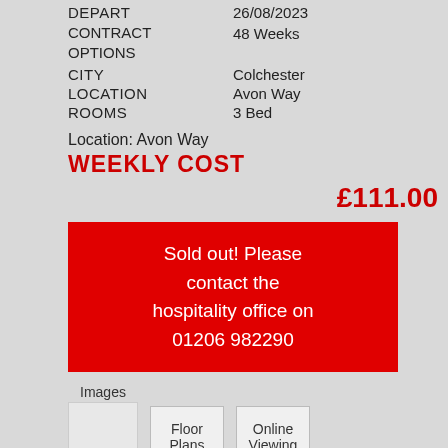| DEPART | 26/08/2023 |
| CONTRACT OPTIONS | 48 Weeks |
| CITY | Colchester |
| LOCATION | Avon Way |
| ROOMS | 3 Bed |
Location: Avon Way
WEEKLY COST
£111.00
Sold out! Please contact the hospitality office on 01206 982290
Images   Floor Plans   Online Viewing